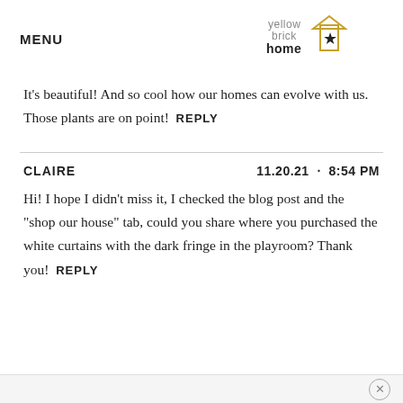MENU | yellow brick home logo
It’s beautiful! And so cool how our homes can evolve with us. Those plants are on point!  REPLY
CLAIRE  11.20.21 · 8:54 PM
Hi! I hope I didn’t miss it, I checked the blog post and the “shop our house” tab, could you share where you purchased the white curtains with the dark fringe in the playroom? Thank you!  REPLY